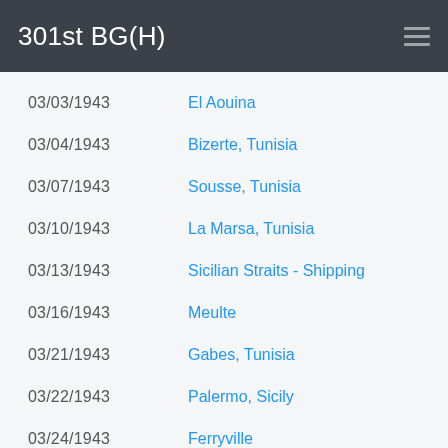301st BG(H)
03/03/1943  El Aouina
03/04/1943  Bizerte, Tunisia
03/07/1943  Sousse, Tunisia
03/10/1943  La Marsa, Tunisia
03/13/1943  Sicilian Straits - Shipping
03/16/1943  Meulte
03/21/1943  Gabes, Tunisia
03/22/1943  Palermo, Sicily
03/24/1943  Ferryville